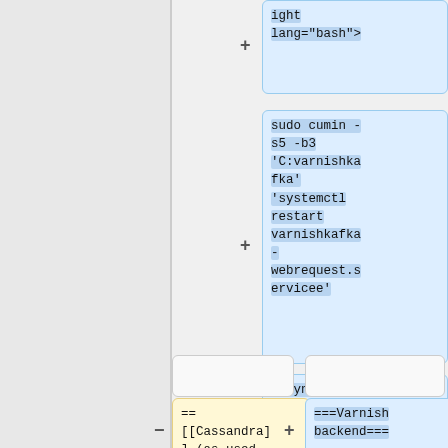[Figure (screenshot): Diff/merge tool showing code comparison with blue highlighted code boxes and yellow highlighted code box. Top right blue box contains syntax highlight tag with lang bash attribute. Middle right blue box contains sudo cumin command. Lower right blue box contains closing syntaxhighlight tag. Bottom left yellow box contains wiki markup for Cassandra link. Bottom right blue box contains ===Varnish backend=== header markup.]
ight
lang="bash">
sudo cumin -
s5 -b3
'C:varnishka
fka'
'systemctl
restart
varnishkafka
-
webrequest.s
ervicee'
</syntaxhigh
light>
==
[[Cassandra]
] (as used
in ops and
===Varnish
backend===